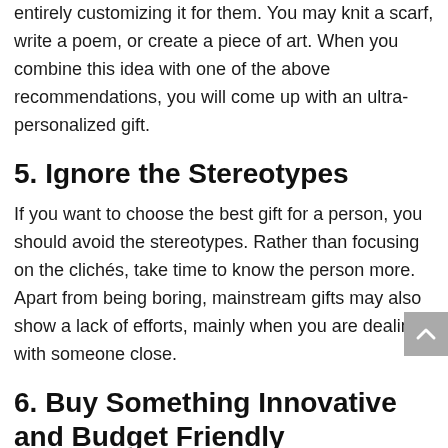entirely customizing it for them. You may knit a scarf, write a poem, or create a piece of art. When you combine this idea with one of the above recommendations, you will come up with an ultra-personalized gift.
5. Ignore the Stereotypes
If you want to choose the best gift for a person, you should avoid the stereotypes. Rather than focusing on the clichés, take time to know the person more. Apart from being boring, mainstream gifts may also show a lack of efforts, mainly when you are dealing with someone close.
6. Buy Something Innovative and Budget Friendly
You need to break from the myth that only costly